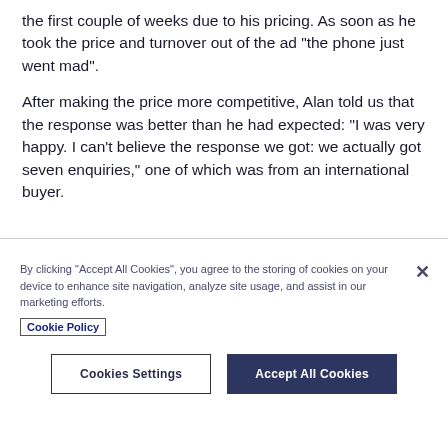the first couple of weeks due to his pricing. As soon as he took the price and turnover out of the ad “the phone just went mad”.
After making the price more competitive, Alan told us that the response was better than he had expected: “I was very happy. I can’t believe the response we got: we actually got seven enquiries,” one of which was from an international buyer.
By clicking “Accept All Cookies”, you agree to the storing of cookies on your device to enhance site navigation, analyze site usage, and assist in our marketing efforts. Cookie Policy
Cookies Settings
Accept All Cookies